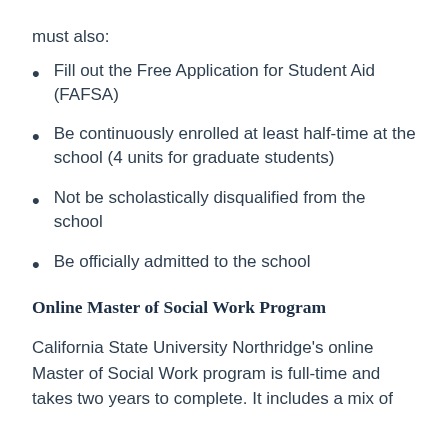must also:
Fill out the Free Application for Student Aid (FAFSA)
Be continuously enrolled at least half-time at the school (4 units for graduate students)
Not be scholastically disqualified from the school
Be officially admitted to the school
Online Master of Social Work Program
California State University Northridge's online Master of Social Work program is full-time and takes two years to complete. It includes a mix of